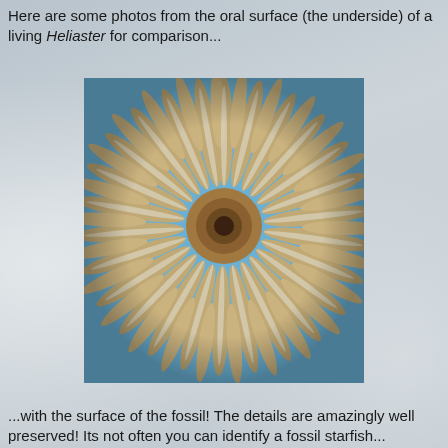Here are some photos from the oral surface (the underside) of a living Heliaster for comparison...
[Figure (photo): Close-up photograph of the oral surface (underside) of a living Heliaster starfish, showing many radiating arms arranged in a circular pattern around a central mouth, photographed against a blue background.]
...with the surface of the fossil! The details are amazingly well preserved! Its not often you can identify a fossil starfish...